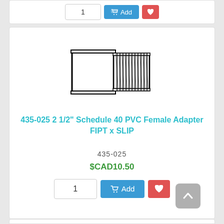[Figure (illustration): Top portion of a product card showing quantity input, Add to cart button, and heart/wishlist button]
[Figure (illustration): Technical line drawing of a 2 1/2 inch Schedule 40 PVC Female Adapter FIPT x SLIP fitting, showing socket end on left and threaded end on right]
435-025 2 1/2" Schedule 40 PVC Female Adapter FIPT x SLIP
435-025
$CAD10.50
[Figure (screenshot): Quantity input box showing 1, blue Add to cart button with cart icon, and red heart wishlist button]